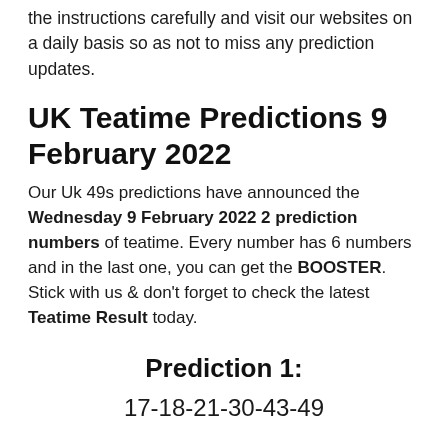the instructions carefully and visit our websites on a daily basis so as not to miss any prediction updates.
UK Teatime Predictions 9 February 2022
Our Uk 49s predictions have announced the Wednesday 9 February 2022 2 prediction numbers of teatime. Every number has 6 numbers and in the last one, you can get the BOOSTER. Stick with us & don't forget to check the latest Teatime Result today.
Prediction 1:
17-18-21-30-43-49